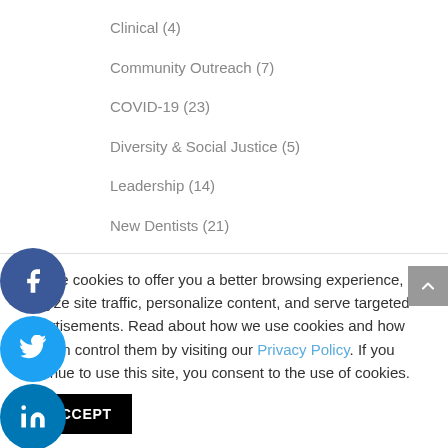Clinical (4)
Community Outreach (7)
COVID-19 (23)
Diversity & Social Justice (5)
Leadership (14)
New Dentists (21)
News & Updates (8)
Practice Management (41)
We use cookies to offer you a better browsing experience, analyze site traffic, personalize content, and serve targeted advertisements. Read about how we use cookies and how you can control them by visiting our Privacy Policy. If you continue to use this site, you consent to the use of cookies.